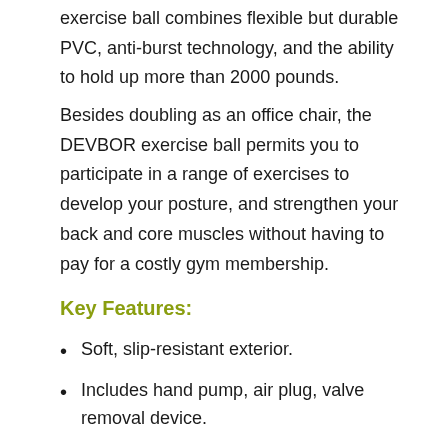exercise ball combines flexible but durable PVC, anti-burst technology, and the ability to hold up more than 2000 pounds.
Besides doubling as an office chair, the DEVBOR exercise ball permits you to participate in a range of exercises to develop your posture, and strengthen your back and core muscles without having to pay for a costly gym membership.
Key Features:
Soft, slip-resistant exterior.
Includes hand pump, air plug, valve removal device.
Available in three sizes: 55cm, 65cm, 75cm.